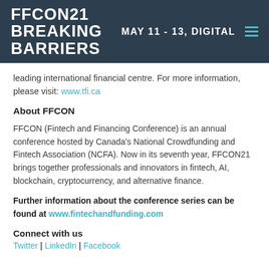FFCON21 BREAKING BARRIERS | MAY 11 - 13, DIGITAL
leading international financial centre. For more information, please visit: www.tfi.ca
About FFCON
FFCON (Fintech and Financing Conference) is an annual conference hosted by Canada’s National Crowdfunding and Fintech Association (NCFA). Now in its seventh year, FFCON21 brings together professionals and innovators in fintech, AI, blockchain, cryptocurrency, and alternative finance.
Further information about the conference series can be found at www.fintechandfunding.com
Connect with us
Twitter | LinkedIn | Facebook